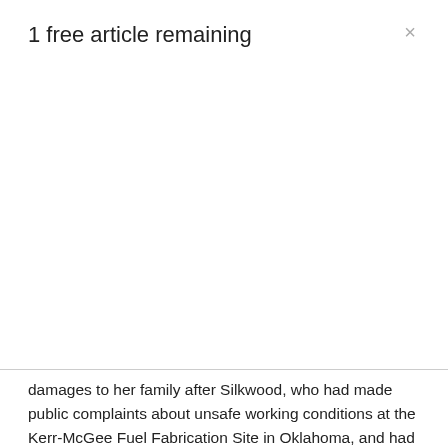1 free article remaining
damages to her family after Silkwood, who had made public complaints about unsafe working conditions at the Kerr-McGee Fuel Fabrication Site in Oklahoma, and had also been contaminated with radioactive plutonium, was killed in a car accident.